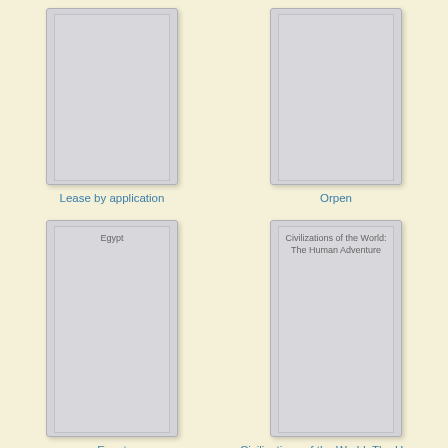[Figure (illustration): Book cover placeholder - top left, partially cropped, gray cover with no visible content]
Lease by application
[Figure (illustration): Book cover placeholder - top right, partially cropped, gray cover with no visible content]
Orpen
[Figure (illustration): Book cover placeholder - bottom left, full cover, gray with text 'Egypt' inside]
Egypt
[Figure (illustration): Book cover placeholder - bottom right, full cover, gray with text 'Civilizations of the World: The Human Adventure' inside]
Civilizations of the World: The Human Adventure